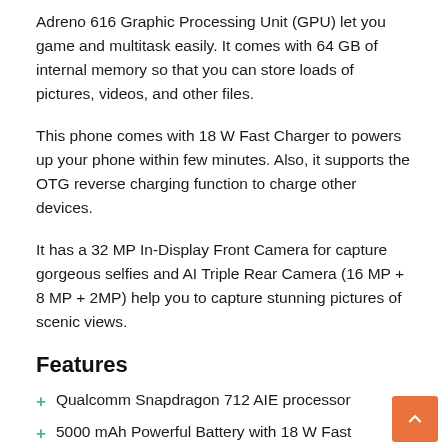Adreno 616 Graphic Processing Unit (GPU) let you game and multitask easily. It comes with 64 GB of internal memory so that you can store loads of pictures, videos, and other files.
This phone comes with 18 W Fast Charger to powers up your phone within few minutes. Also, it supports the OTG reverse charging function to charge other devices.
It has a 32 MP In-Display Front Camera for capture gorgeous selfies and AI Triple Rear Camera (16 MP + 8 MP + 2MP) help you to capture stunning pictures of scenic views.
Features
+ Qualcomm Snapdragon 712 AIE processor
+ 5000 mAh Powerful Battery with 18 W Fast